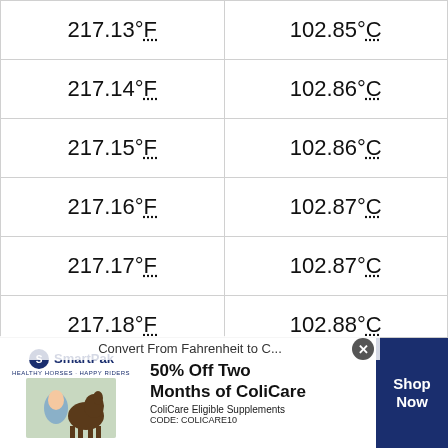| °F | °C |
| --- | --- |
| 217.13°F | 102.85°C |
| 217.14°F | 102.86°C |
| 217.15°F | 102.86°C |
| 217.16°F | 102.87°C |
| 217.17°F | 102.87°C |
| 217.18°F | 102.88°C |
| 217.19°F | 102.88°C |
| 217.2°F | 102.89°C |
| 217.21°F | 102.89°C |